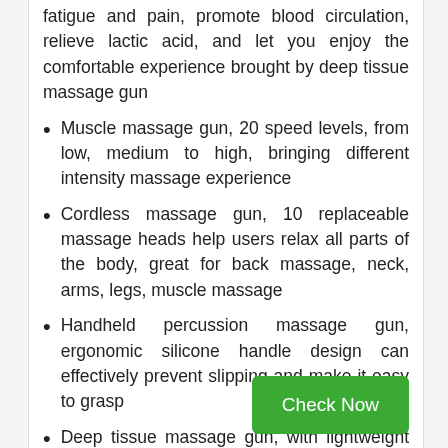fatigue and pain, promote blood circulation, relieve lactic acid, and let you enjoy the comfortable experience brought by deep tissue massage gun
Muscle massage gun, 20 speed levels, from low, medium to high, bringing different intensity massage experience
Cordless massage gun, 10 replaceable massage heads help users relax all parts of the body, great for back massage, neck, arms, legs, muscle massage
Handheld percussion massage gun, ergonomic silicone handle design can effectively prevent slipping and make it easy to grasp
Deep tissue massage gun, with lightweight design with carrying case, simplifying storage and transportation, the best gift choice for Mother's Day, Father's Day, Birthday